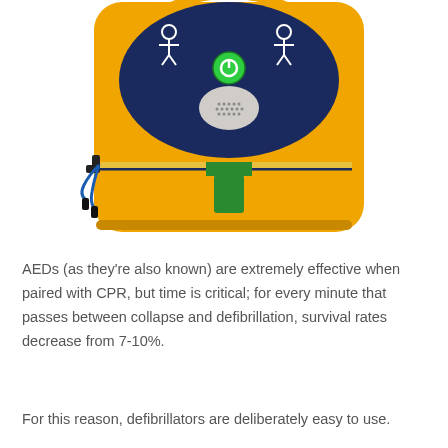[Figure (photo): Close-up photograph of a yellow AED (Automated External Defibrillator) device in a carrying case. The device has a navy blue panel with white pictogram instructions, a green power button, and a gray speaker grille. The yellow case has a zipper with black zipper pulls and a green fabric pull tab at the bottom.]
AEDs (as they're also known) are extremely effective when paired with CPR, but time is critical; for every minute that passes between collapse and defibrillation, survival rates decrease from 7-10%.
For this reason, defibrillators are deliberately easy to use.